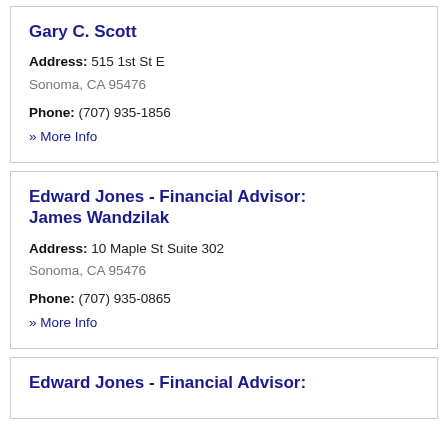Gary C. Scott
Address: 515 1st St E
Sonoma, CA 95476
Phone: (707) 935-1856
» More Info
Edward Jones - Financial Advisor: James Wandzilak
Address: 10 Maple St Suite 302
Sonoma, CA 95476
Phone: (707) 935-0865
» More Info
Edward Jones - Financial Advisor: